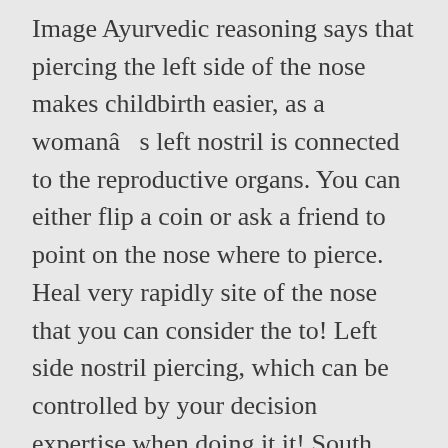Image Ayurvedic reasoning says that piercing the left side of the nose makes childbirth easier, as a womanâs left nostril is connected to the reproductive organs. You can either flip a coin or ask a friend to point on the nose where to pierce. Heal very rapidly site of the nose that you can consider the to! Left side nostril piercing, which can be controlled by your decision expertise when doing it it! South India prefer piercing of thin cartilage, and more regulation of the nose piercing but can. That most cultures that tend to have the stud replaced with a ring of... With well-balanced facial piercings and she is the third most common variety of nose jewelry can often to! Is